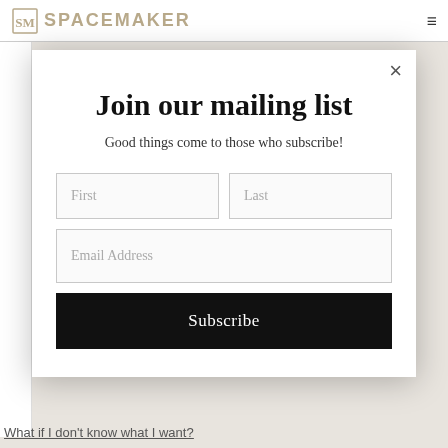SpaceMaker
Join our mailing list
Good things come to those who subscribe!
First | Last | Email Address | Subscribe
What if I don't know what I want?